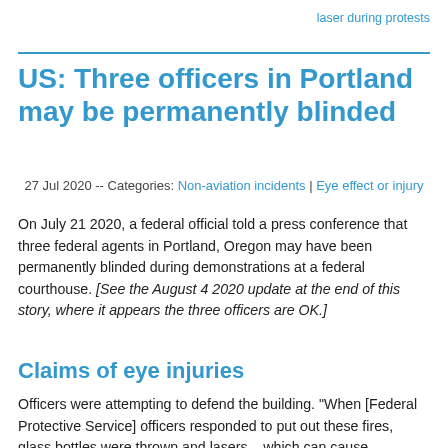laser during protests
US: Three officers in Portland may be permanently blinded
27 Jul 2020 -- Categories: Non-aviation incidents | Eye effect or injury
On July 21 2020, a federal official told a press conference that three federal agents in Portland, Oregon may have been permanently blinded during demonstrations at a federal courthouse. [See the August 4 2020 update at the end of this story, where it appears the three officers are OK.]
Claims of eye injuries
Officers were attempting to defend the building. "When [Federal Protective Service] officers responded to put out these fires, glass bottles were thrown and lasers – which can cause permanent blindness – were shined in their eyes. We have three officers who currently have eye injuries and they may not recover sight in those eyes from